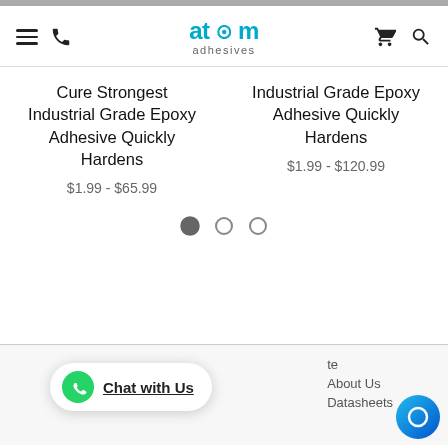atom adhesives — navigation header with menu, phone, cart, and search icons
Cure Strongest Industrial Grade Epoxy Adhesive Quickly Hardens
$1.99 - $65.99
Industrial Grade Epoxy Adhesive Quickly Hardens
$1.99 - $120.99
[Figure (other): Carousel pagination dots — one filled (active) and two outlined circles]
Chat with Us
About Us
Datasheets